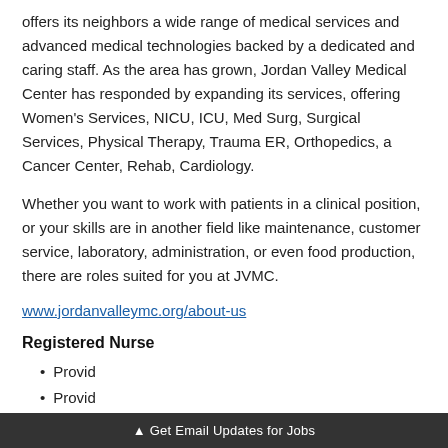offers its neighbors a wide range of medical services and advanced medical technologies backed by a dedicated and caring staff. As the area has grown, Jordan Valley Medical Center has responded by expanding its services, offering Women's Services, NICU, ICU, Med Surg, Surgical Services, Physical Therapy, Trauma ER, Orthopedics, a Cancer Center, Rehab, Cardiology.
Whether you want to work with patients in a clinical position, or your skills are in another field like maintenance, customer service, laboratory, administration, or even food production, there are roles suited for you at JVMC.
www.jordanvalleymc.org/about-us
Registered Nurse
Provid…
Provid… (specialized)